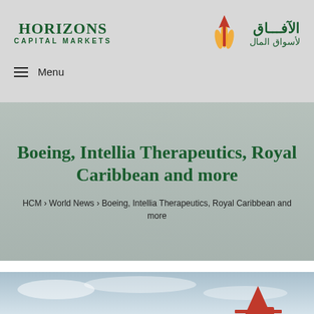HORIZONS CAPITAL MARKETS | الآفاق لأسواق المال
Menu
Boeing, Intellia Therapeutics, Royal Caribbean and more
HCM › World News › Boeing, Intellia Therapeutics, Royal Caribbean and more
[Figure (photo): Partial view of an airplane tail with red logo against a blue sky with clouds]